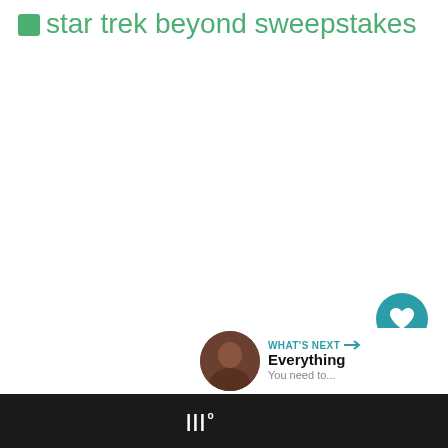star trek beyond sweepstakes
[Figure (other): Teal circular like/favorite button with heart icon]
1
[Figure (other): White circular share button with share/add icon]
WHAT'S NEXT → Everything You need to...
Wº